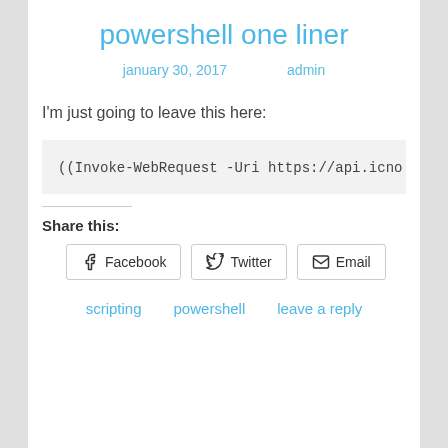powershell one liner
january 30, 2017   admin
I'm just going to leave this here:
((Invoke-WebRequest -Uri https://api.icno
Share this:
Facebook
Twitter
Email
scripting
powershell
leave a reply